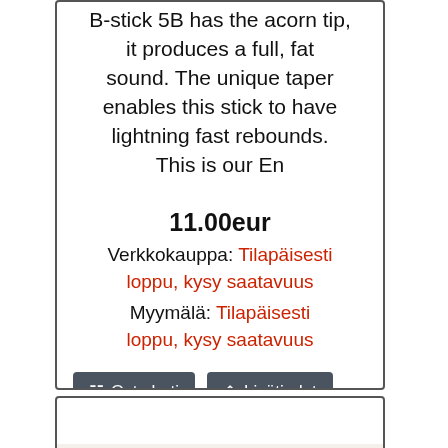B-stick 5B has the acorn tip, it produces a full, fat sound. The unique taper enables this stick to have lightning fast rebounds. This is our En
11.00eur
Verkkokauppa: Tilapäisesti loppu, kysy saatavuus
Myymälä: Tilapäisesti loppu, kysy saatavuus
Osta heti
Lisätiedot
[Figure (photo): Drumsticks product photo showing two wooden drumsticks with acorn tips on a light beige/cream background]